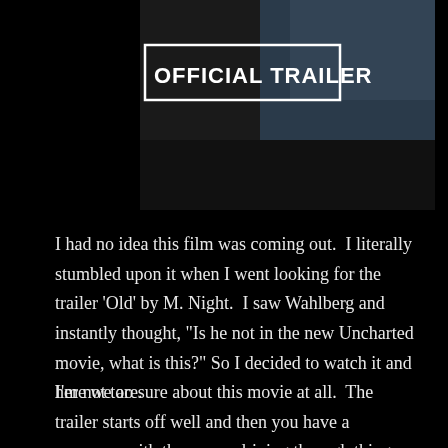[Figure (screenshot): A video thumbnail showing 'OFFICIAL TRAILER' text in bold white on a dark background with a person visible on the right side wearing a blue jacket]
I had no idea this film was coming out.  I literally stumbled upon it when I went looking for the trailer 'Old' by M. Night.  I saw Wahlberg and instantly thought, "Is he not in the new Uncharted movie, what is this?" So I decided to watch it and here we are.
I'm not too sure about this movie at all.  The trailer starts off well and then you have a sequence with these cars driving through things and essentially, that's it.  The plot